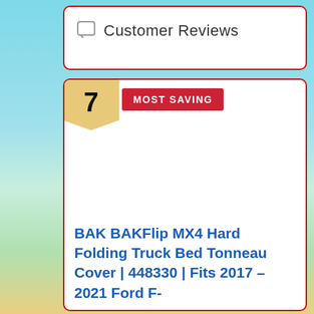Customer Reviews
7 MOST SAVING
BAK BAKFlip MX4 Hard Folding Truck Bed Tonneau Cover | 448330 | Fits 2017 - 2021 Ford F-